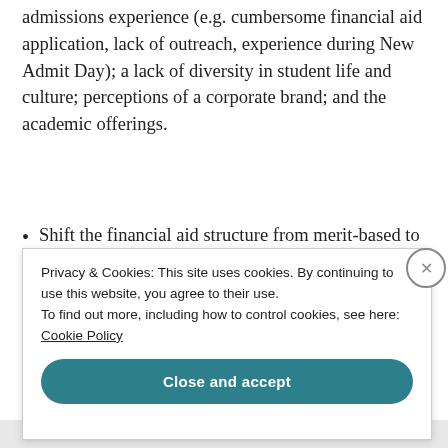admissions experience (e.g. cumbersome financial aid application, lack of outreach, experience during New Admit Day); a lack of diversity in student life and culture; perceptions of a corporate brand; and the academic offerings.
Shift the financial aid structure from merit-based to need-based. A comprehensive need-based aid strategy should include: an application fee waiver
Privacy & Cookies: This site uses cookies. By continuing to use this website, you agree to their use.
To find out more, including how to control cookies, see here: Cookie Policy
Close and accept